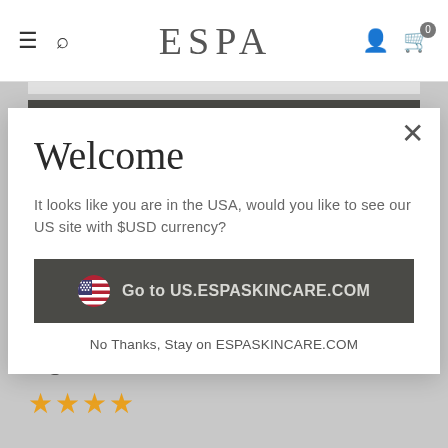ESPA
See all reviews
Welcome
It looks like you are in the USA, would you like to see our US site with $USD currency?
🇺🇸  Go to US.ESPASKINCARE.COM
No Thanks, Stay on ESPASKINCARE.COM
views of The Hut Group.
Light